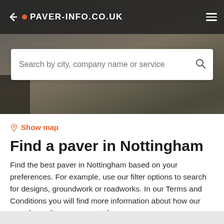PAVER-INFO.CO.UK
Search by city, company name or service
Show map
Find a paver in Nottingham
Find the best paver in Nottingham based on your preferences. For example, use our filter options to search for designs, groundwork or roadworks. In our Terms and Conditions you will find more information about how our search results are generated.
Filters